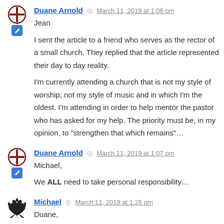Duane Arnold — March 11, 2019 at 1:06 pm
Jean
I sent the article to a friend who serves as the rector of a small church. They replied that the article represented their day to day reality.
I'm currently attending a church that is not my style of worship; not my style of music and in which I'm the oldest. I'm attending in order to help mentor the pastor who has asked for my help. The priority must be, in my opinion, to "strengthen that which remains"...
Duane Arnold — March 11, 2019 at 1:07 pm
Michael,
We ALL need to take personal responsibility...
Michael — March 11, 2019 at 1:26 pm
Duane,